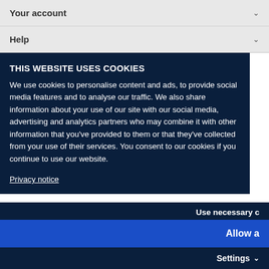Your account
Help
THIS WEBSITE USES COOKIES
We use cookies to personalise content and ads, to provide social media features and to analyse our traffic. We also share information about your use of our site with our social media, advertising and analytics partners who may combine it with other information that you've provided to them or that they've collected from your use of their services. You consent to our cookies if you continue to use our website.
Privacy notice
Use necessary c
Allow a
Settings